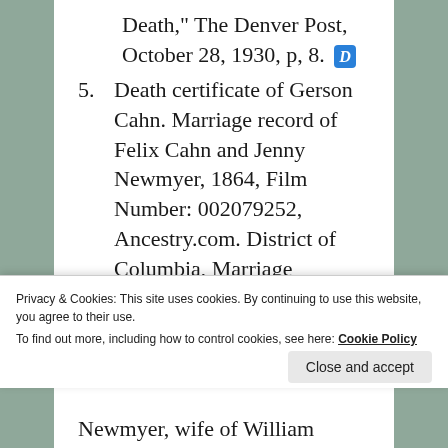Death," The Denver Post, October 28, 1930, p, 8. [link icon]
5. Death certificate of Gerson Cahn. Marriage record of Felix Cahn and Jenny Newmyer, 1864, Film Number: 002079252, Ancestry.com. District of Columbia, Marriage Records,
Privacy & Cookies: This site uses cookies. By continuing to use this website, you agree to their use.
To find out more, including how to control cookies, see here: Cookie Policy
Close and accept
Newmyer, wife of William